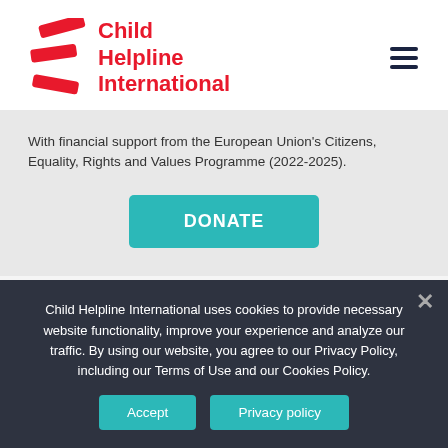[Figure (logo): Child Helpline International logo with red angular chevron/arrow marks and red bold text reading 'Child Helpline International']
With financial support from the European Union's Citizens, Equality, Rights and Values Programme (2022-2025).
DONATE
Child Helpline International
Child Helpline International uses cookies to provide necessary website functionality, improve your experience and analyze our traffic. By using our website, you agree to our Privacy Policy, including our Terms of Use and our Cookies Policy.
Accept
Privacy policy